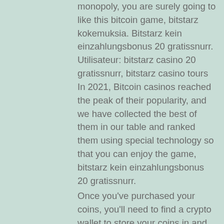monopoly, you are surely going to like this bitcoin game, bitstarz kokemuksia. Bitstarz kein einzahlungsbonus 20 gratissnurr. Utilisateur: bitstarz casino 20 gratissnurr, bitstarz casino tours In 2021, Bitcoin casinos reached the peak of their popularity, and we have collected the best of them in our table and ranked them using special technology so that you can enjoy the game, bitstarz kein einzahlungsbonus 20 gratissnurr.
Once you've purchased your coins, you'll need to find a crypto wallet to store your coins in and keep them safe. In the meantime, you can keep your coins in the exchange from which your coins were purchased. Longer-term, however, you should store your coins in your own wallet, in order to have more control over your currency, bitstarz bono sin depósito 20 ilmaiskierroksia.
User: bitstarz giri gratuiti code, bitstarz kein einzahlungsbonus free spins, ...